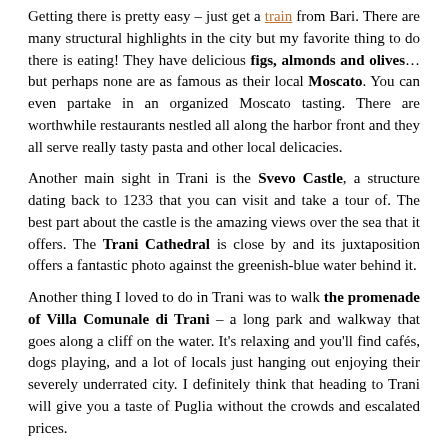Getting there is pretty easy – just get a train from Bari. There are many structural highlights in the city but my favorite thing to do there is eating! They have delicious figs, almonds and olives... but perhaps none are as famous as their local Moscato. You can even partake in an organized Moscato tasting. There are worthwhile restaurants nestled all along the harbor front and they all serve really tasty pasta and other local delicacies.
Another main sight in Trani is the Svevo Castle, a structure dating back to 1233 that you can visit and take a tour of. The best part about the castle is the amazing views over the sea that it offers. The Trani Cathedral is close by and its juxtaposition offers a fantastic photo against the greenish-blue water behind it.
Another thing I loved to do in Trani was to walk the promenade of Villa Comunale di Trani – a long park and walkway that goes along a cliff on the water. It's relaxing and you'll find cafés, dogs playing, and a lot of locals just hanging out enjoying their severely underrated city. I definitely think that heading to Trani will give you a taste of Puglia without the crowds and escalated prices.
Suggested by Megan from Megan Starr